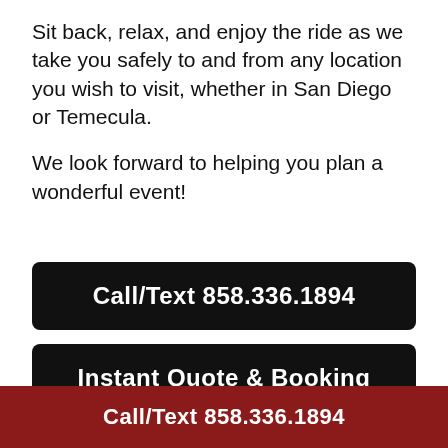Sit back, relax, and enjoy the ride as we take you safely to and from any location you wish to visit, whether in San Diego or Temecula.
We look forward to helping you plan a wonderful event!
Call/Text 858.336.1894
Instant Quote & Booking
Call/Text 858.336.1894